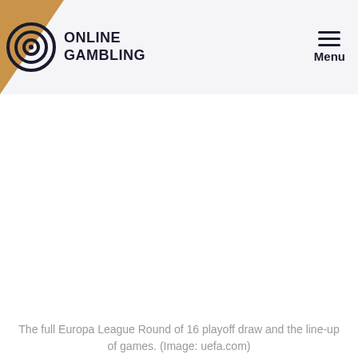ONLINE GAMBLING | Menu
[Figure (photo): Large blank/white image area representing a Europa League Round of 16 playoff draw graphic]
The full Europa League Round of 16 playoff draw and the line-up of games. (Image: uefa.com)